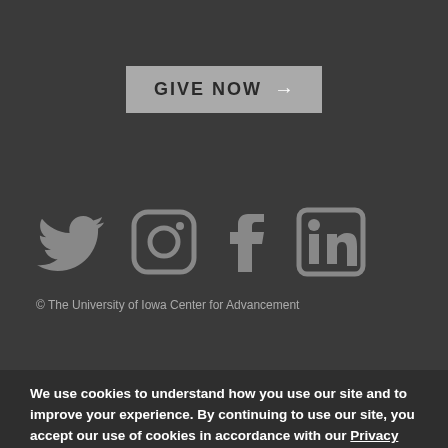[Figure (other): GIVE NOW button with arrow on dark gray background]
[Figure (other): Social media icons: Twitter, Instagram, Facebook, LinkedIn in gray on dark background]
© The University of Iowa Center for Advancement
We use cookies to understand how you use our site and to improve your experience. By continuing to use our site, you accept our use of cookies in accordance with our Privacy Statement unless you have disabled them in your browser.
✕ CLOSE